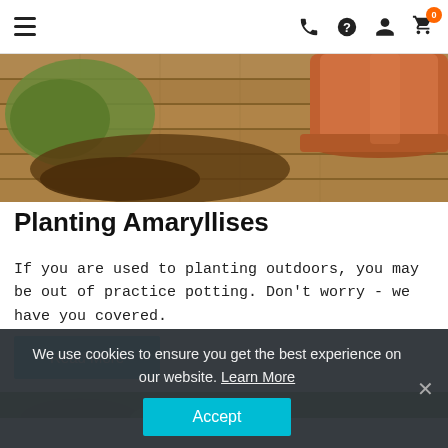Navigation bar with hamburger menu and icons: phone, help, user, cart (0)
[Figure (photo): Close-up photo of soil/dirt spilled from a green bag, a terracotta pot, and a wooden surface background. Gardening scene.]
Planting Amaryllises
If you are used to planting outdoors, you may be out of practice potting. Don't worry - we have you covered.
Read More
[Figure (photo): Partial photo of green plant foliage at the bottom of the page.]
We use cookies to ensure you get the best experience on our website. Learn More
Accept